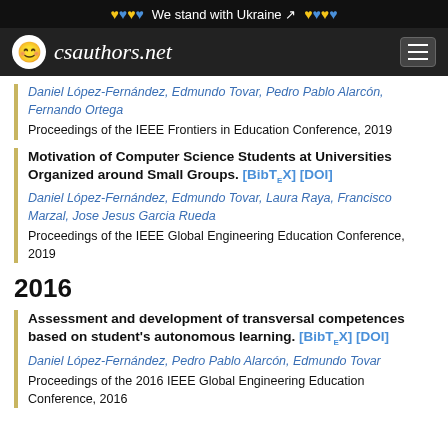We stand with Ukraine
csauthors.net
Daniel López-Fernández, Edmundo Tovar, Pedro Pablo Alarcón, Fernando Ortega
Proceedings of the IEEE Frontiers in Education Conference, 2019
Motivation of Computer Science Students at Universities Organized around Small Groups. [BibTeX] [DOI]
Daniel López-Fernández, Edmundo Tovar, Laura Raya, Francisco Marzal, Jose Jesus Garcia Rueda
Proceedings of the IEEE Global Engineering Education Conference, 2019
2016
Assessment and development of transversal competences based on student's autonomous learning. [BibTeX] [DOI]
Daniel López-Fernández, Pedro Pablo Alarcón, Edmundo Tovar
Proceedings of the 2016 IEEE Global Engineering Education Conference, 2016